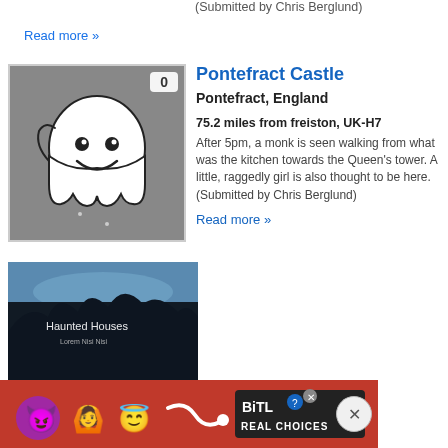(Submitted by Chris Berglund)
Read more »
[Figure (illustration): Ghost illustration (cartoon white ghost on grey background) with a badge showing '0']
Pontefract Castle
Pontefract, England
75.2 miles from freiston, UK-H7
After 5pm, a monk is seen walking from what was the kitchen towards the Queen's tower. A little, raggedly girl is also thought to be here. (Submitted by Chris Berglund)
Read more »
[Figure (photo): Dark nighttime photo with text 'Haunted Houses' and subtitle visible, showing silhouetted trees against a blue-grey sky]
[Figure (other): BitLife advertisement banner with emoji characters and text 'BitLife REAL CHOICES' on red background]